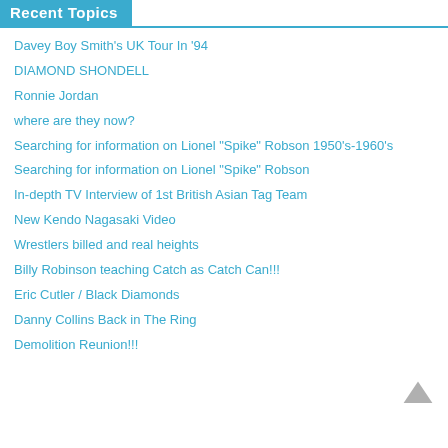Recent Topics
Davey Boy Smith's UK Tour In '94
DIAMOND SHONDELL
Ronnie Jordan
where are they now?
Searching for information on Lionel "Spike" Robson 1950's-1960's
Searching for information on Lionel "Spike" Robson
In-depth TV Interview of 1st British Asian Tag Team
New Kendo Nagasaki Video
Wrestlers billed and real heights
Billy Robinson teaching Catch as Catch Can!!!
Eric Cutler / Black Diamonds
Danny Collins Back in The Ring
Demolition Reunion!!!